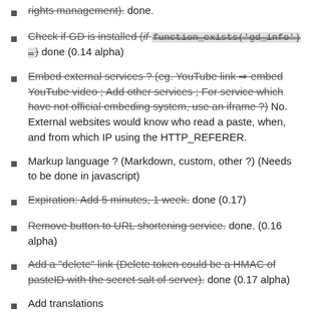rights management). done.
Check if GD is installed (if function_exists('gd_info') … ) done (0.14 alpha)
Embed external services ? (eg. YouTube link ⇒ embed YouTube video ; Add other services ; For service which have not official embeding system, use an iframe ?) No. External websites would know who read a paste, when, and from which IP using the HTTP_REFERER.
Markup language ? (Markdown, custom, other ?) (Needs to be done in javascript)
Expiration: Add 5 minutes, 1 week. done (0.17)
Remove button to URL shortening service. done. (0.16 alpha)
Add a "delete" link (Delete token could be a HMAC of pasteID with the secret salt of server). done (0.17 alpha)
Add translations